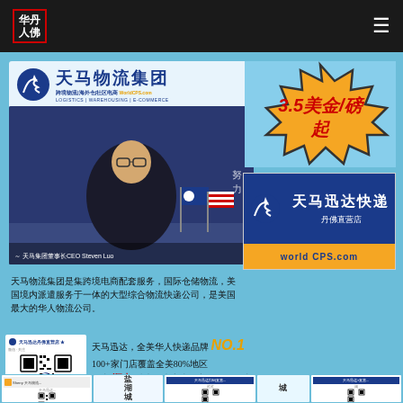华丹人佛 (header logo and menu)
[Figure (logo): 天马物流集团 logo with 跨境物流|海外仓|社区电商 WorldCPS.com and LOGISTICS|WAREHOUSING|E-COMMERCE]
[Figure (photo): Person in suit sitting at desk with US and company flags, caption: 天马集团董事长CEO Steven Luo]
[Figure (infographic): Orange explosion badge with text 3.5美金/磅 起]
[Figure (photo): 天马迅达快递 丹佛直营店 with worldCPS.com branding]
天马物流集团是集跨境电商配套服务，国际仓储物流，美国境内派遣服务于一体的大型综合物流快递公司，是美国最大的华人物流公司。
[Figure (other): 天马迅达丹佛直营店 QR code]
天马迅达，全美华人快递品牌 NO.1
100+家门店覆盖全美80%地区
国内 顺丰 派遣，速度快、安全、有保障！
[Figure (screenshot): Multiple thumbnail images of social media posts and QR codes]
Chinese flag icon, navigation bars, arrow